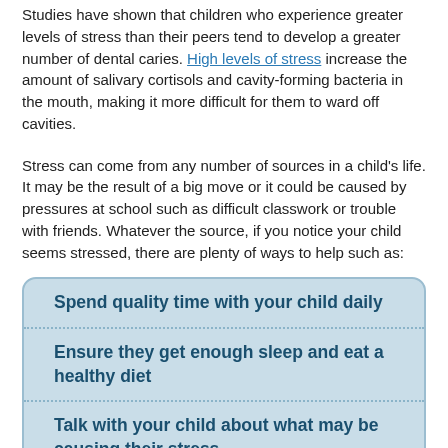Studies have shown that children who experience greater levels of stress than their peers tend to develop a greater number of dental caries. High levels of stress increase the amount of salivary cortisols and cavity-forming bacteria in the mouth, making it more difficult for them to ward off cavities.
Stress can come from any number of sources in a child's life. It may be the result of a big move or it could be caused by pressures at school such as difficult classwork or trouble with friends. Whatever the source, if you notice your child seems stressed, there are plenty of ways to help such as:
Spend quality time with your child daily
Ensure they get enough sleep and eat a healthy diet
Talk with your child about what may be causing their stress
Schedule wellness visits with the doctor and follow-up visits to the dentist and let